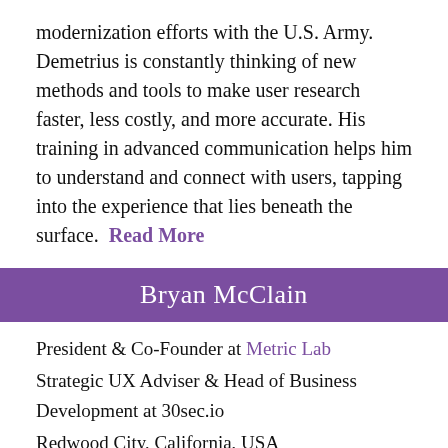modernization efforts with the U.S. Army. Demetrius is constantly thinking of new methods and tools to make user research faster, less costly, and more accurate. His training in advanced communication helps him to understand and connect with users, tapping into the experience that lies beneath the surface.  Read More
Bryan McClain
President & Co-Founder at Metric Lab
Strategic UX Adviser & Head of Business Development at 30sec.io
Redwood City, California, USA
Bryan is passionate about connecting with people and understanding their experiences
[Figure (photo): Circular headshot photo of Bryan McClain, a man with brown hair, with a dark blue TOP badge in the lower right]